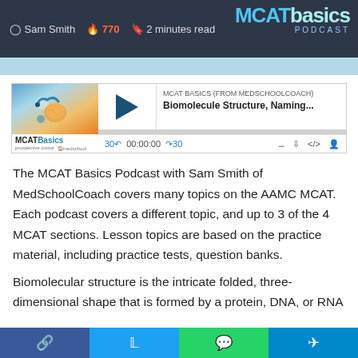Sam Smith 🔥 770 🔖 2 minutes read — MCAT Basics Podcast
[Figure (screenshot): MCAT Basics podcast player showing episode 'Biomolecule Structure, Naming...' with play button, time counter 00:00:00, and skip controls]
The MCAT Basics Podcast with Sam Smith of MedSchoolCoach covers many topics on the AAMC MCAT. Each podcast covers a different topic, and up to 3 of the 4 MCAT sections. Lesson topics are based on the practice material, including practice tests, question banks.
Biomolecular structure is the intricate folded, three-dimensional shape that is formed by a protein, DNA, or RNA